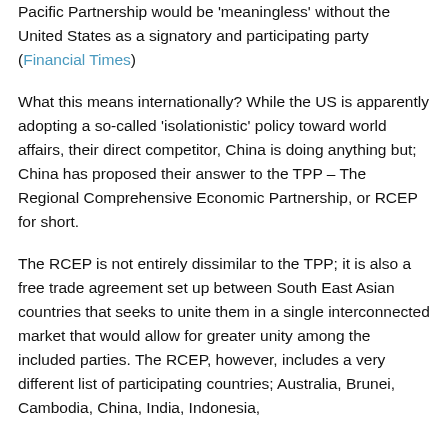Pacific Partnership would be 'meaningless' without the United States as a signatory and participating party (Financial Times)
What this means internationally? While the US is apparently adopting a so-called 'isolationistic' policy toward world affairs, their direct competitor, China is doing anything but; China has proposed their answer to the TPP – The Regional Comprehensive Economic Partnership, or RCEP for short.
The RCEP is not entirely dissimilar to the TPP; it is also a free trade agreement set up between South East Asian countries that seeks to unite them in a single interconnected market that would allow for greater unity among the included parties. The RCEP, however, includes a very different list of participating countries; Australia, Brunei, Cambodia, China, India, Indonesia,